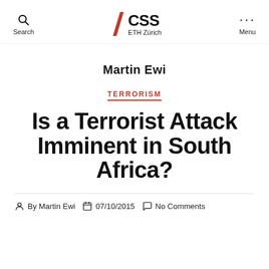CSS ETH Zürich — Search / Menu
Martin Ewi
TERRORISM
Is a Terrorist Attack Imminent in South Africa?
By Martin Ewi   07/10/2015   No Comments